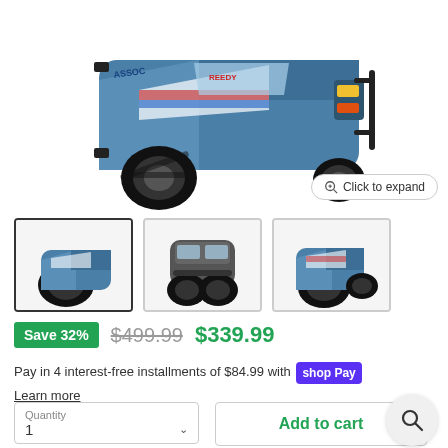[Figure (photo): RC truck/short course truck, blue and white, viewed from front-left angle, large black tires visible, on white background]
Click to expand
[Figure (photo): Thumbnail 1: RC truck side/front-left view (selected, with border)]
[Figure (photo): Thumbnail 2: RC truck front view]
[Figure (photo): Thumbnail 3: RC truck side view]
Save 32%  $499.99  $339.99
Pay in 4 interest-free installments of $84.99 with shop Pay
Learn more
Quantity
1
Add to cart